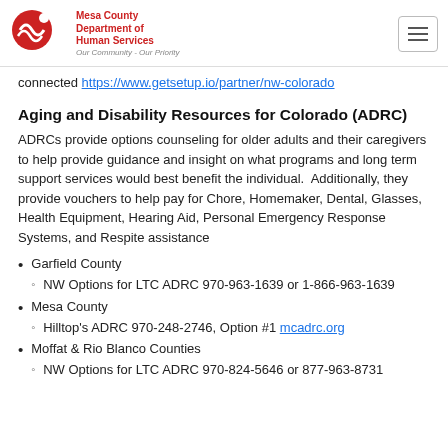Mesa County Department of Human Services — Our Community - Our Priority
connected https://www.getsetup.io/partner/nw-colorado
Aging and Disability Resources for Colorado (ADRC)
ADRCs provide options counseling for older adults and their caregivers to help provide guidance and insight on what programs and long term support services would best benefit the individual. Additionally, they provide vouchers to help pay for Chore, Homemaker, Dental, Glasses, Health Equipment, Hearing Aid, Personal Emergency Response Systems, and Respite assistance
Garfield County
NW Options for LTC ADRC 970-963-1639 or 1-866-963-1639
Mesa County
Hilltop's ADRC 970-248-2746, Option #1 mcadrc.org
Moffat & Rio Blanco Counties
NW Options for LTC ADRC 970-824-5646 or 877-963-8731